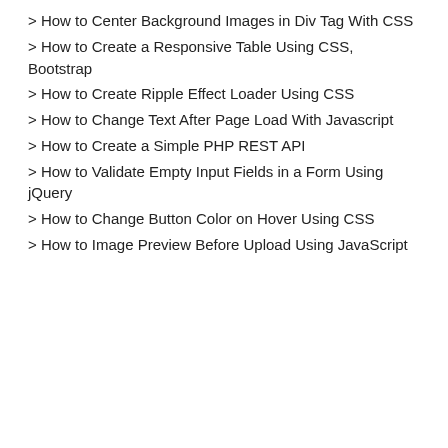> How to Center Background Images in Div Tag With CSS
> How to Create a Responsive Table Using CSS, Bootstrap
> How to Create Ripple Effect Loader Using CSS
> How to Change Text After Page Load With Javascript
> How to Create a Simple PHP REST API
> How to Validate Empty Input Fields in a Form Using jQuery
> How to Change Button Color on Hover Using CSS
> How to Image Preview Before Upload Using JavaScript